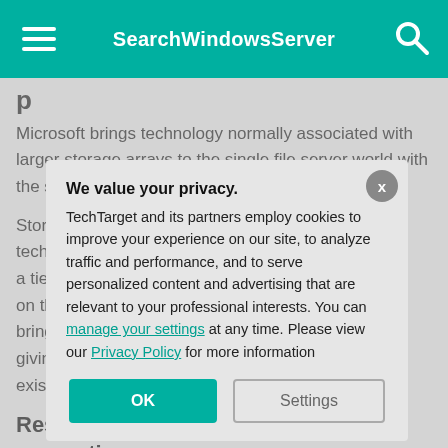SearchWindowsServer
Microsoft brings technology normally associated with larger storage arrays to the single file server world with the storage bus cache for standalone servers.
Storage bus cache is a read-and-write caching technology that a tiering system on the server for bring a big perfo giving new life to existing hardwar
Resilient File encryption e
Resilient File Sy Microsoft. The c
We value your privacy.
TechTarget and its partners employ cookies to improve your experience on our site, to analyze traffic and performance, and to serve personalized content and advertising that are relevant to your professional interests. You can manage your settings at any time. Please view our Privacy Policy for more information